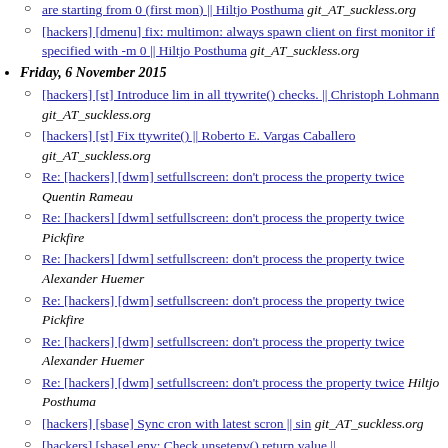[link] are starting from 0 (first mon) || Hiltjo Posthuma git_AT_suckless.org
[hackers] [dmenu] fix: multimon: always spawn client on first monitor if specified with -m 0 || Hiltjo Posthuma git_AT_suckless.org
Friday, 6 November 2015
[hackers] [st] Introduce lim in all ttywrite() checks. || Christoph Lohmann git_AT_suckless.org
[hackers] [st] Fix ttywrite() || Roberto E. Vargas Caballero git_AT_suckless.org
Re: [hackers] [dwm] setfullscreen: don't process the property twice Quentin Rameau
Re: [hackers] [dwm] setfullscreen: don't process the property twice Pickfire
Re: [hackers] [dwm] setfullscreen: don't process the property twice Alexander Huemer
Re: [hackers] [dwm] setfullscreen: don't process the property twice Pickfire
Re: [hackers] [dwm] setfullscreen: don't process the property twice Alexander Huemer
Re: [hackers] [dwm] setfullscreen: don't process the property twice Hiltjo Posthuma
[hackers] [sbase] Sync cron with latest scron || sin git_AT_suckless.org
[hackers] [sbase] env: Check unsetenv() return value ||